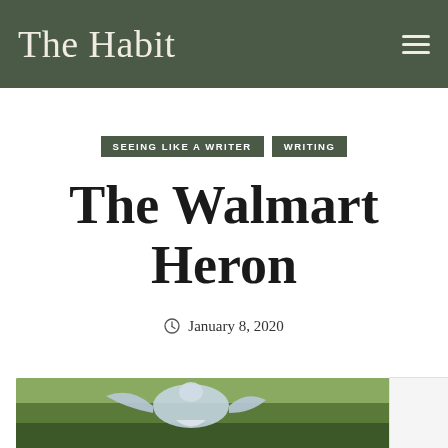The Habit
SEEING LIKE A WRITER · WRITING
The Walmart Heron
January 8, 2020
[Figure (photo): Partial view of a heron bird in flight, with blurred green/olive background, bottom of page]